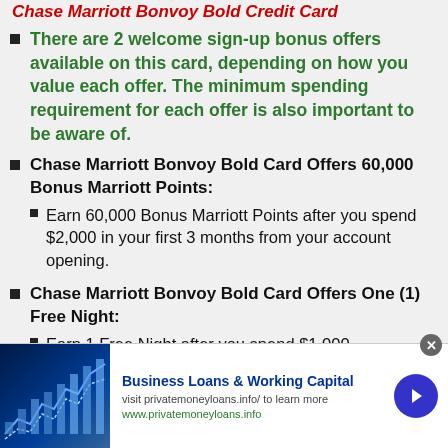Chase Marriott Bonvoy Bold Credit Card
There are 2 welcome sign-up bonus offers available on this card, depending on how you value each offer. The minimum spending requirement for each offer is also important to be aware of.
Chase Marriott Bonvoy Bold Card Offers 60,000 Bonus Marriott Points:
Earn 60,000 Bonus Marriott Points after you spend $2,000 in your first 3 months from your account opening.
Chase Marriott Bonvoy Bold Card Offers One (1) Free Night:
Earn 1 Free Night after you spend $1,000
[Figure (infographic): Advertisement banner for Business Loans & Working Capital from privatemoneyloans.info with a financial chart image on the left and a blue arrow button on the right.]